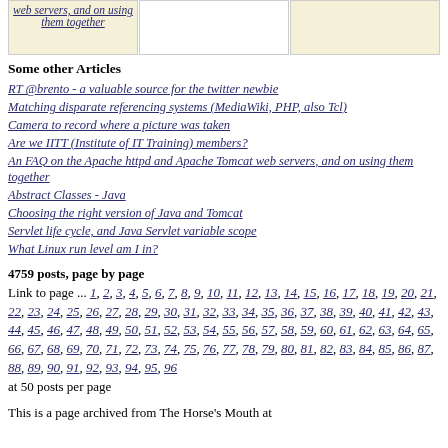[Figure (table-as-image): Top row with three cells: first cell has italic underlined text about Apache httpd and Apache Tomcat web servers, middle cell is empty, third cell has beige background]
Some other Articles
RT @brento - a valuable source for the twitter newbie
Matching disparate referencing systems (MediaWiki, PHP, also Tcl)
Camera to record where a picture was taken
Are we IITT (Institute of IT Training) members?
An FAQ on the Apache httpd and Apache Tomcat web servers, and on using them together
Abstract Classes - Java
Choosing the right version of Java and Tomcat
Servlet life cycle, and Java Servlet variable scope
What Linux run level am I in?
4759 posts, page by page
Link to page ... 1, 2, 3, 4, 5, 6, 7, 8, 9, 10, 11, 12, 13, 14, 15, 16, 17, 18, 19, 20, 21, 22, 23, 24, 25, 26, 27, 28, 29, 30, 31, 32, 33, 34, 35, 36, 37, 38, 39, 40, 41, 42, 43, 44, 45, 46, 47, 48, 49, 50, 51, 52, 53, 54, 55, 56, 57, 58, 59, 60, 61, 62, 63, 64, 65, 66, 67, 68, 69, 70, 71, 72, 73, 74, 75, 76, 77, 78, 79, 80, 81, 82, 83, 84, 85, 86, 87, 88, 89, 90, 91, 92, 93, 94, 95, 96
at 50 posts per page
This is a page archived from The Horse's Mouth at